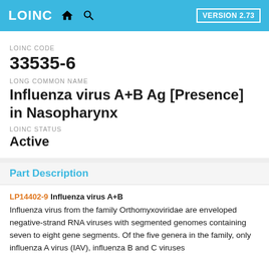LOINC — VERSION 2.73
LOINC CODE
33535-6
LONG COMMON NAME
Influenza virus A+B Ag [Presence] in Nasopharynx
LOINC STATUS
Active
Part Description
LP14402-9  Influenza virus A+B
Influenza virus from the family Orthomyxoviridae are enveloped negative-strand RNA viruses with segmented genomes containing seven to eight gene segments. Of the five genera in the family, only influenza A virus (IAV), influenza B and C viruses